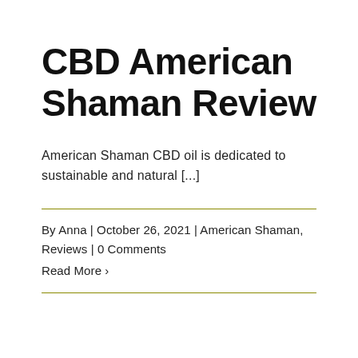CBD American Shaman Review
American Shaman CBD oil is dedicated to sustainable and natural [...]
By Anna | October 26, 2021 | American Shaman, Reviews | 0 Comments
Read More >